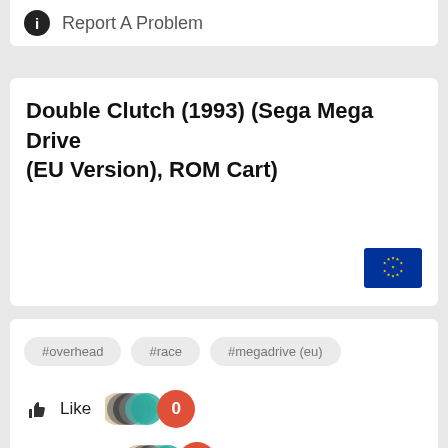Report A Problem
Double Clutch (1993) (Sega Mega Drive (EU Version), ROM Cart)
#overhead
#race
#megadrive (eu)
Like 0
Loathe 0
Comments 0
[Figure (screenshot): Double clutch game logo/title screen with teal stylized text on dark background]